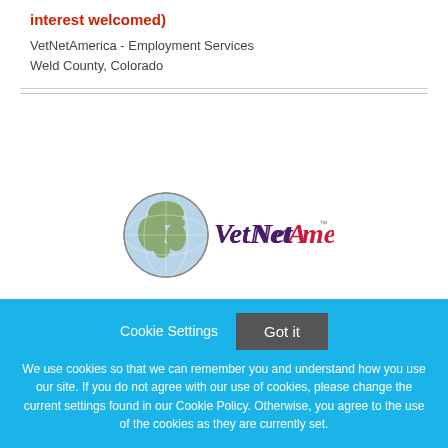interest welcomed)
VetNetAmerica - Employment Services
Weld County, Colorado
[Figure (logo): VetNetAmerica logo with globe icon and stylized text 'VetNetAmerica' with trademark symbol]
Cookie Settings   Got it

We use cookies so that we can remember you and understand how you use our site. If you do not agree with our use of cookies, please change the current settings found in our Cookie Policy. Otherwise, you agree to the use of the cookies as they are currently set.